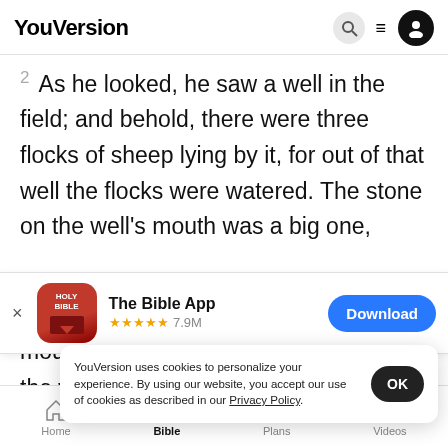YouVersion
2 As he looked, he saw a well in the field; and behold, there were three flocks of sheep lying by it, for out of that well the flocks were watered. The stone on the well's mouth was a big one,
[Figure (screenshot): App download banner for The Bible App showing icon, 5 star rating 7.9M reviews, and Download button]
mouth,
the well
YouVersion uses cookies to personalize your experience. By using our website, you accept our use of cookies as described in our Privacy Policy.
4 And Jacob said to them, My brothers, where
Home  Bible  Plans  Videos